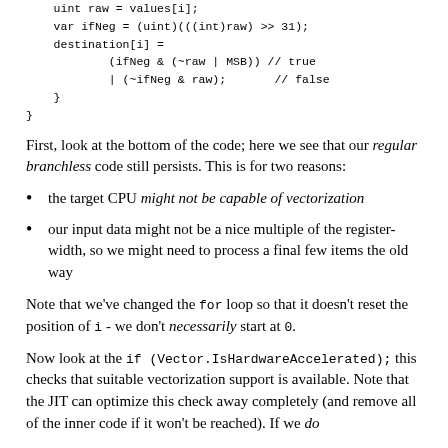uint raw = values[i];
    var ifNeg = (uint)(((int)raw) >> 31);
    destination[i] =
            (ifNeg & (~raw | MSB)) // true
            | (~ifNeg & raw);       // false
    }
}
First, look at the bottom of the code; here we see that our regular branchless code still persists. This is for two reasons:
the target CPU might not be capable of vectorization
our input data might not be a nice multiple of the register-width, so we might need to process a final few items the old way
Note that we've changed the for loop so that it doesn't reset the position of i - we don't necessarily start at 0.
Now look at the if (Vector.IsHardwareAccelerated); this checks that suitable vectorization support is available. Note that the JIT can optimize this check away completely (and remove all of the inner code if it won't be reached). If we do